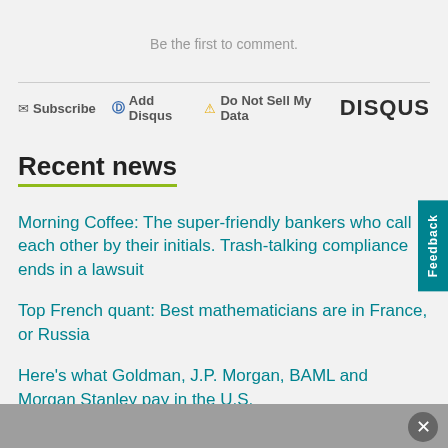Be the first to comment.
✉ Subscribe  ⓓ Add Disqus  ⚠ Do Not Sell My Data   DISQUS
Recent news
Morning Coffee: The super-friendly bankers who call each other by their initials. Trash-talking compliance ends in a lawsuit
Top French quant: Best mathematicians are in France, or Russia
Here's what Goldman, J.P. Morgan, BAML and Morgan Stanley pay in the U.S.